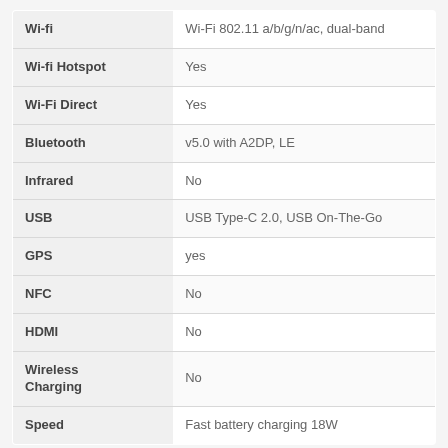| Feature | Details |
| --- | --- |
| Wi-fi | Wi-Fi 802.11 a/b/g/n/ac, dual-band |
| Wi-fi Hotspot | Yes |
| Wi-Fi Direct | Yes |
| Bluetooth | v5.0 with A2DP, LE |
| Infrared | No |
| USB | USB Type-C 2.0, USB On-The-Go |
| GPS | yes |
| NFC | No |
| HDMI | No |
| Wireless Charging | No |
| Speed | Fast battery charging 18W |